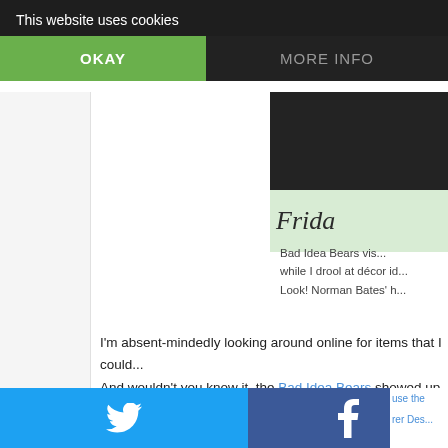This website uses cookies
OKAY
MORE INFO
[Figure (screenshot): Dark decorative background image with green panel showing italic text 'Frida']
Bad Idea Bears vis... while I drool at décor id... Look! Norman Bates' h...
I'm absent-mindedly looking around online for items that I could... And wouldn't you know it, the Bad Idea Bears showed up and t... stuff and redecorate.
[Figure (infographic): Social sharing buttons grid: Twitter (blue), Facebook (dark blue), Email (grey), WhatsApp (green), SMS (blue), other (dark)]